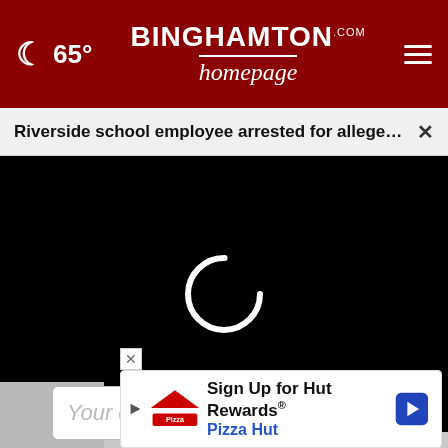65° | BinghamtonHomepage.com
Riverside school employee arrested for allegedly ... ×
[Figure (screenshot): Black video player area with white loading spinner (circular arc) in the center]
Your email
Sign Up for Hut Rewards® Pizza Hut